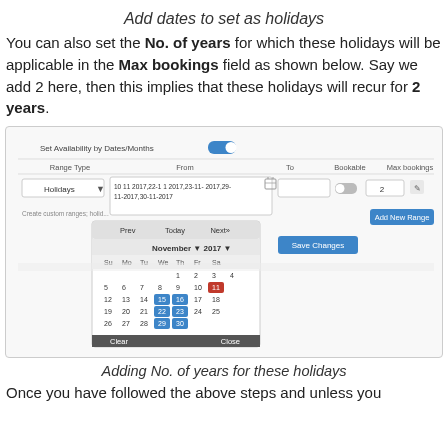Add dates to set as holidays
You can also set the No. of years for which these holidays will be applicable in the Max bookings field as shown below. Say we add 2 here, then this implies that these holidays will recur for 2 years.
[Figure (screenshot): Screenshot of a booking availability interface showing 'Set Availability by Dates/Months' toggle enabled, a table with Range Type (Holidays), From field with dates 10-11-2017,22-11-2017,23-11-2017,29-11-2017,30-11-2017, To field, Bookable toggle, Max bookings field showing 2, an 'Add New Range' button, and a calendar popup showing November 2017 with some dates highlighted, plus a 'Save Changes' button.]
Adding No. of years for these holidays
Once you have followed the above steps and unless you